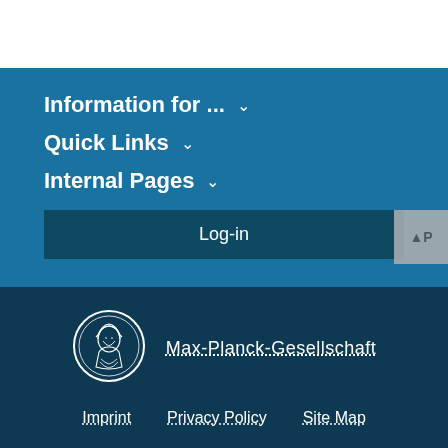Information for ... ∨
Quick Links ∨
Internal Pages ∨
Log-in
[Figure (logo): Max-Planck-Gesellschaft circular medallion logo with portrait]
Max-Planck-Gesellschaft
Imprint   Privacy Policy   Site Map
© 2022, Max-Planck-Gesellschaft